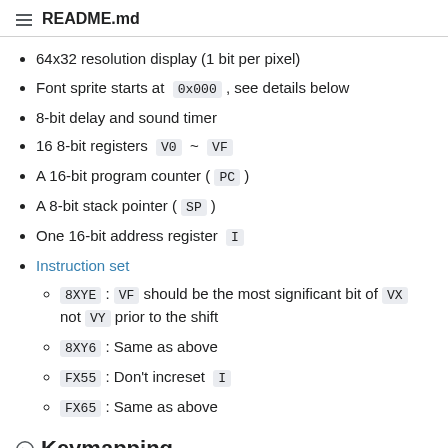README.md
64x32 resolution display (1 bit per pixel)
Font sprite starts at 0x000 , see details below
8-bit delay and sound timer
16 8-bit registers V0 ~ VF
A 16-bit program counter ( PC )
A 8-bit stack pointer ( SP )
One 16-bit address register I
Instruction set
8XYE : VF should be the most significant bit of VX not VY prior to the shift
8XY6 : Same as above
FX55 : Don't increset I
FX65 : Same as above
Keymapping